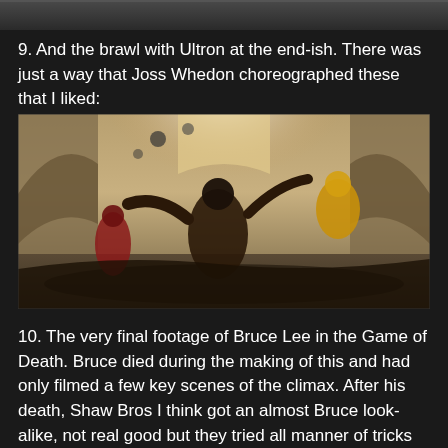[Figure (photo): Partial top of an image, cropped, dark background]
9. And the brawl with Ultron at the end-ish. There was just a way that Joss Whedon choreographed these that I liked:
[Figure (photo): Action scene from Avengers: Age of Ultron showing heroes fighting Ultron in a stone building with arched windows, dramatic lighting]
10. The very final footage of Bruce Lee in the Game of Death. Bruce died during the making of this and had only filmed a few key scenes of the climax. After his death, Shaw Bros I think got an almost Bruce look-alike, not real good but they tried all manner of tricks like crudely super-imposing a photo of Bruce Lees face over the double a few times, lots of purposely off-angles, etc. However. On this footage is the last time Bruce filmed something for the screen, a fight up a tower where on